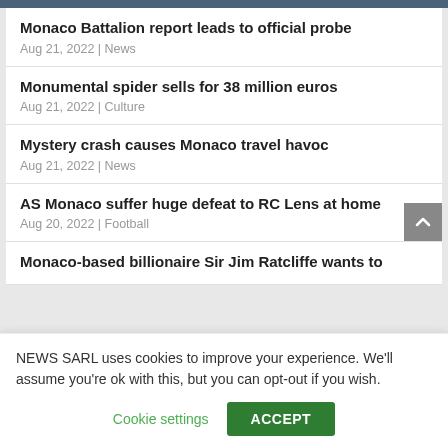Monaco Battalion report leads to official probe
Aug 21, 2022 | News
Monumental spider sells for 38 million euros
Aug 21, 2022 | Culture
Mystery crash causes Monaco travel havoc
Aug 21, 2022 | News
AS Monaco suffer huge defeat to RC Lens at home
Aug 20, 2022 | Football
Monaco-based billionaire Sir Jim Ratcliffe wants to
NEWS SARL uses cookies to improve your experience. We'll assume you're ok with this, but you can opt-out if you wish.
Cookie settings
ACCEPT